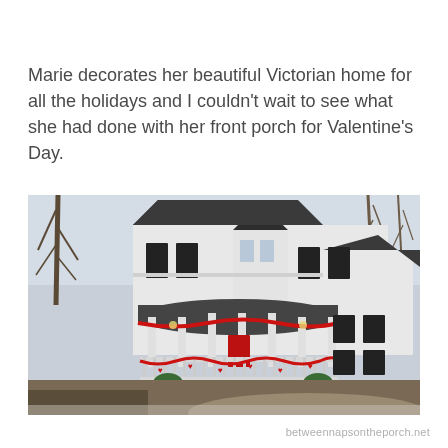Marie decorates her beautiful Victorian home for all the holidays and I couldn't wait to see what she had done with her front porch for Valentine's Day.
[Figure (photo): A large white Victorian-style house with a wraparound front porch decorated with red Valentine's Day garland and hearts. The house has dark shutters, a turret, and a dark roof. Bare trees are visible on the left and right. A driveway curves in the foreground. The porch railing is adorned with red decorations. A watermark reads 'betweennapsontheporch.net'.]
betweennapsontheporch.net